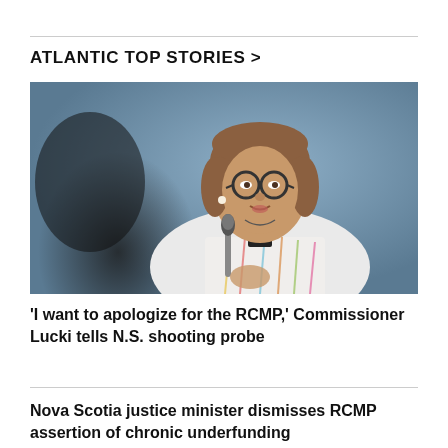ATLANTIC TOP STORIES >
[Figure (photo): Woman with short brown hair and round glasses speaking at a microphone, wearing a colourful patterned jacket, with a blurred dark figure in the foreground left.]
'I want to apologize for the RCMP,' Commissioner Lucki tells N.S. shooting probe
Nova Scotia justice minister dismisses RCMP assertion of chronic underfunding